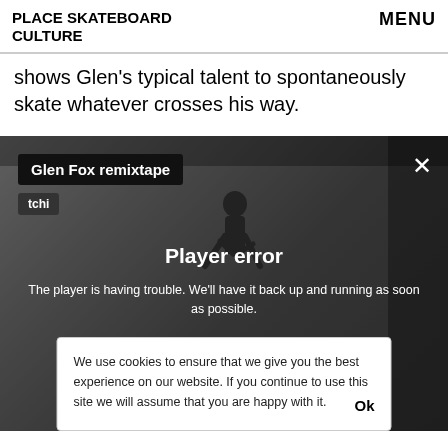PLACE SKATEBOARD CULTURE | MENU
shows Glen's typical talent to spontaneously skate whatever crosses his way.
[Figure (screenshot): Grayscale video player showing a skateboarder in an indoor space, with a 'Glen Fox remixtape' title bar, 'tchi' tag, and a 'Player error' overlay message reading: 'The player is having trouble. We'll have it back up and running as soon as possible.' A cookie consent banner overlays the bottom of the player with text: 'We use cookies to ensure that we give you the best experience on our website. If you continue to use this site we will assume that you are happy with it.' and an 'Ok' button.]